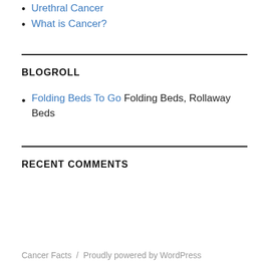Urethral Cancer
What is Cancer?
BLOGROLL
Folding Beds To Go Folding Beds, Rollaway Beds
RECENT COMMENTS
Cancer Facts  /  Proudly powered by WordPress